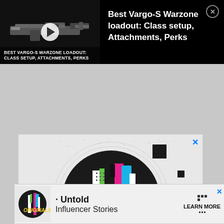[Figure (screenshot): Call of Duty Warzone video thumbnail with gun image, play button, and logo; right side shows text: Best Vargo-S Warzone loadout: Class setup, Attachments, Perks with close button]
Best Vargo-S Warzone loadout: Class setup, Attachments, Perks
BEST VARGO-S WARZONE LOADOUT: CLASS SETUP, ATTACHMENTS, PERKS
[Figure (illustration): TikTok Originals advertisement with circular logo design featuring colorful vertical bars (green, pink, cyan, white) on black background with graffiti-style ORIGINALS text in yellow, decorative dot patterns and geometric elements on white background. Blue X close button top right.]
[Figure (illustration): TikTok Originals bottom banner ad with small circular logo on left, text 'Untold Influencer Stories' in center, and 'LEARN MORE' with dot grid pattern on right. X close button top right.]
Untold Influencer Stories
LEARN MORE